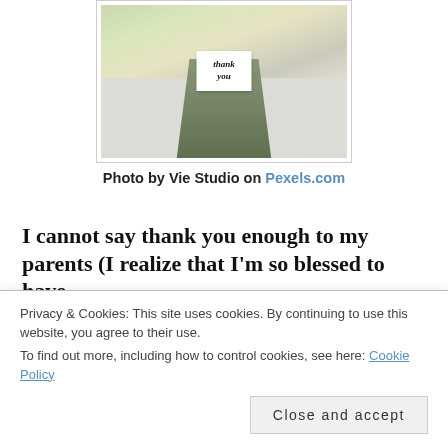[Figure (photo): A floral arrangement in a vase with a white 'thank you' card sign visible among the stems and flowers, on a light background.]
Photo by Vie Studio on Pexels.com
I cannot say thank you enough to my parents (I realize that I’m so blessed to have
Privacy & Cookies: This site uses cookies. By continuing to use this website, you agree to their use.
To find out more, including how to control cookies, see here: Cookie Policy
My friend, Nicky, for helping, and my other